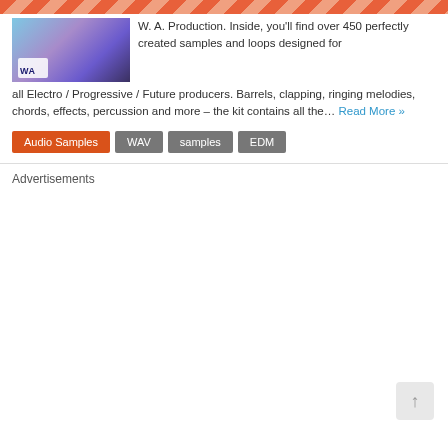[Figure (photo): Product image for W. A. Production audio sample pack with purple/blue abstract design and WA logo]
W. A. Production. Inside, you'll find over 450 perfectly created samples and loops designed for all Electro / Progressive / Future producers. Barrels, clapping, ringing melodies, chords, effects, percussion and more – the kit contains all the… Read More »
Audio Samples
WAV
samples
EDM
Advertisements